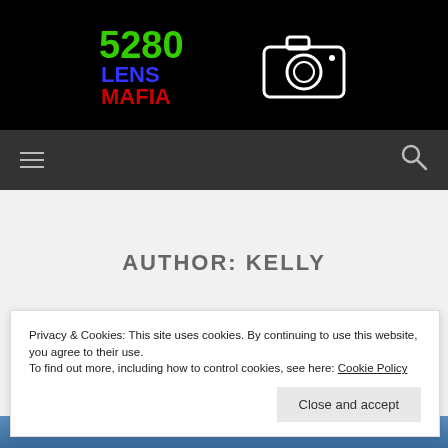[Figure (logo): 5280 Lens Mafia logo with colored text and camera icon on black background]
Navigation bar with hamburger menu and search icon
AUTHOR: KELLY
Privacy & Cookies: This site uses cookies. By continuing to use this website, you agree to their use. To find out more, including how to control cookies, see here: Cookie Policy
Close and accept